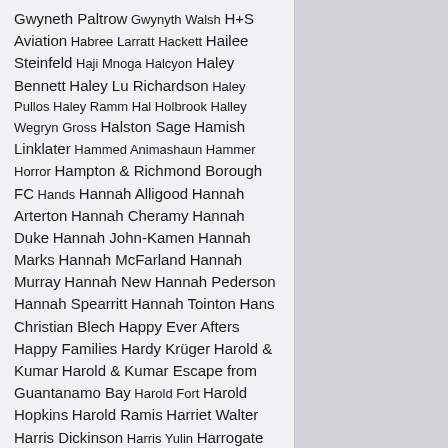Gwyneth Paltrow Gwynyth Walsh H+S Aviation Habree Larratt Hackett Hailee Steinfeld Haji Mnoga Halcyon Haley Bennett Haley Lu Richardson Haley Pullos Haley Ramm Hal Holbrook Halley Wegryn Gross Halston Sage Hamish Linklater Hammed Animashaun Hammer Horror Hampton & Richmond Borough FC Hands Hannah Alligood Hannah Arterton Hannah Cheramy Hannah Duke Hannah John-Kamen Hannah Marks Hannah McFarland Hannah Murray Hannah New Hannah Pederson Hannah Spearritt Hannah Tointon Hans Christian Blech Happy Ever Afters Happy Families Hardy Krüger Harold & Kumar Harold & Kumar Escape from Guantanamo Bay Harold Fort Harold Hopkins Harold Ramis Harriet Walter Harris Dickinson Harris Yulin Harrogate Town FC Harrow Borough FC Harry Enfield Harry Redknapp Hartlepool by-election Hartlepool United FC Harvey White Hattie Jacques Havant & Waterlooville FC Hayden Carter Hayden Christensen Hayden Panettiere Hayden Szeto